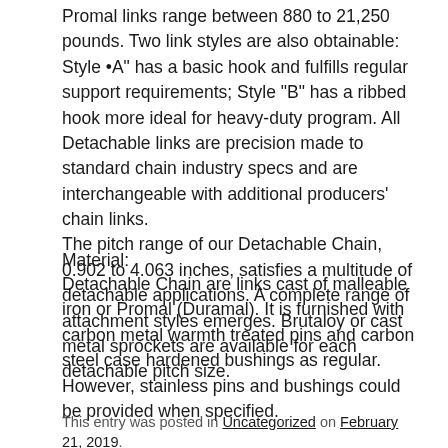Promal links range between 880 to 21,250 pounds. Two link styles are also obtainable: Style •A" has a basic hook and fulfills regular support requirements; Style "B" has a ribbed hook more ideal for heavy-duty program. All Detachable links are precision made to standard chain industry specs and are interchangeable with additional producers' chain links. The pitch range of our Detachable Chain, 0.902 to 4.063 inches, satisfies a multitude of detachable applications. A complete range of attachment styles emerges. Brutaloy or cast metal sprockets are available for each detachable pitch size.
Material:
Detachable Chain are links cast of malleable iron or Promal (Duramal). It is furnished with carbon metal warmth treated pins and carbon steel case hardened bushings as regular. However, stainless pins and bushings could be provided when specified.
This entry was posted in Uncategorized on February 21, 2019.